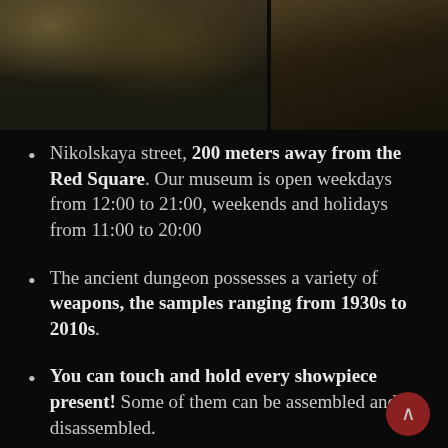[Figure (photo): Two photographs side by side showing museum display cases with weapons on a dark green/olive surface, dark background]
Nikolskaya street, 200 meters away from the Red Square. Our museum is open weekdays from 12:00 to 21:00, weekends and holidays from 11:00 to 20:00
The ancient dungeon possesses a variety of weapons, the samples ranging from 1930s to 2010s.
You can touch and hold every showpiece present! Some of them can be assembled and disassembled.